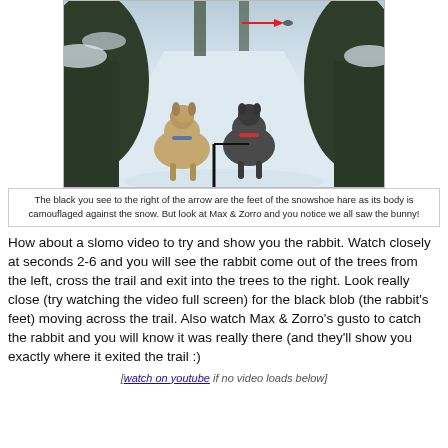[Figure (photo): A POV photo of two sled dogs (one tan, one dark) running down a snowy forest trail. A red arrow points to the right side of the trail near the top of the image, indicating the location of a camouflaged snowshoe hare.]
The black you see to the right of the arrow are the feet of the snowshoe hare as its body is camouflaged against the snow. But look at Max & Zorro and you notice we all saw the bunny!
How about a slomo video to try and show you the rabbit. Watch closely at seconds 2-6 and you will see the rabbit come out of the trees from the left, cross the trail and exit into the trees to the right. Look really close (try watching the video full screen) for the black blob (the rabbit's feet) moving across the trail. Also watch Max & Zorro's gusto to catch the rabbit and you will know it was really there (and they'll show you exactly where it exited the trail :)
[watch on youtube if no video loads below]